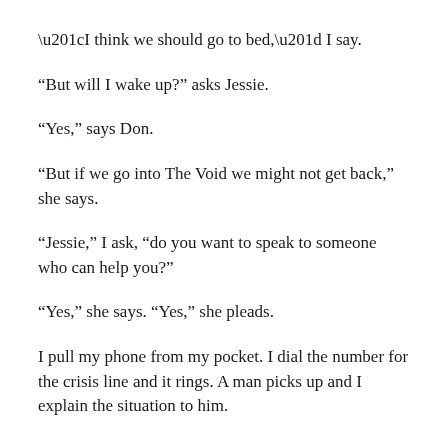“I think we should go to bed,” I say.
“But will I wake up?” asks Jessie.
“Yes,” says Don.
“But if we go into The Void we might not get back,” she says.
“Jessie,” I ask, “do you want to speak to someone who can help you?”
“Yes,” she says. “Yes,” she pleads.
I pull my phone from my pocket. I dial the number for the crisis line and it rings. A man picks up and I explain the situation to him.